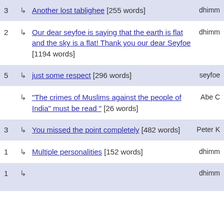3 Another lost tablighee [255 words] dhimm
2 Our dear seyfoe is saying that the earth is flat and the sky is a flat! Thank you our dear Seyfoe [1194 words] dhimm
5 just some respect [296 words] seyfoe
"The crimes of Muslims against the people of India" must be read " [26 words] Abe C
3 You missed the point completely [482 words] Peter K
1 Multiple personalities [152 words] dhimm
1 dhimm